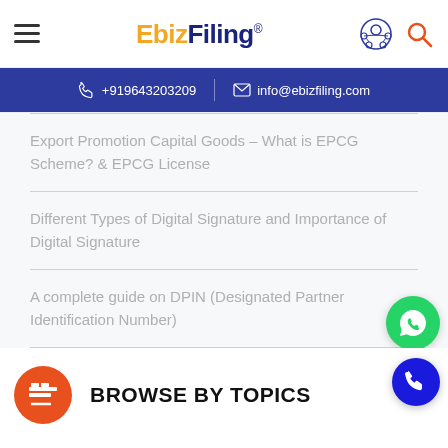EbizFiling® | +919643203209 | info@ebizfiling.com
Export Promotion Capital Goods – What is EPCG Scheme? & EPCG License
Different Types of Digital Signature and Importance of Digital Signature
A complete guide on DPIN (Designated Partner Identification Number)
BROWSE BY TOPICS